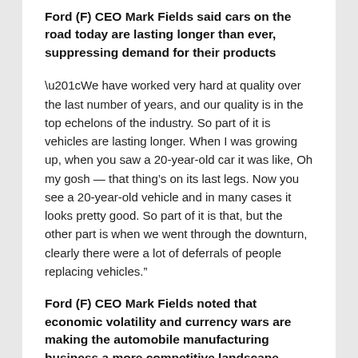Ford (F) CEO Mark Fields said cars on the road today are lasting longer than ever, suppressing demand for their products
“We have worked very hard at quality over the last number of years, and our quality is in the top echelons of the industry. So part of it is vehicles are lasting longer. When I was growing up, when you saw a 20-year-old car it was like, Oh my gosh — that thing’s on its last legs. Now you see a 20-year-old vehicle and in many cases it looks pretty good. So part of it is that, but the other part is when we went through the downturn, clearly there were a lot of deferrals of people replacing vehicles.”
Ford (F) CEO Mark Fields noted that economic volatility and currency wars are making the automobile manufacturing business a more competitive landscape
“For us the main policy is making sure that currency is not used as a weapon, if you will, to manipulate the cost of products, whether they’re imported or exported. We can